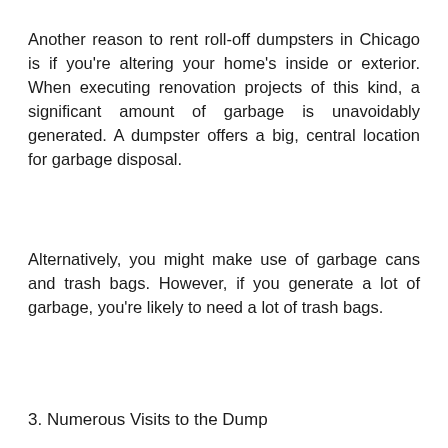Another reason to rent roll-off dumpsters in Chicago is if you're altering your home's inside or exterior. When executing renovation projects of this kind, a significant amount of garbage is unavoidably generated. A dumpster offers a big, central location for garbage disposal.
Alternatively, you might make use of garbage cans and trash bags. However, if you generate a lot of garbage, you're likely to need a lot of trash bags.
3. Numerous Visits to the Dump